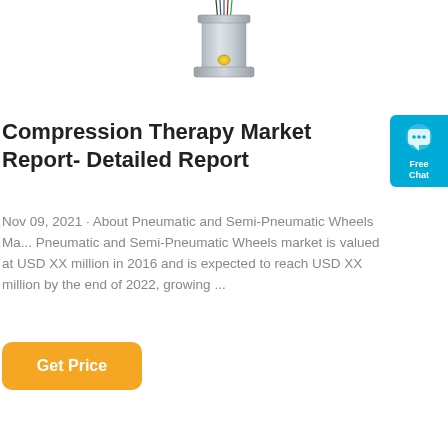[Figure (photo): Product photo of a compression therapy medical device — cylindrical metallic component with wires and a yellow connector, shown partially cropped at the top of the page.]
Compression Therapy Market Report- Detailed Report
Nov 09, 2021 · About Pneumatic and Semi-Pneumatic Wheels Ma... Pneumatic and Semi-Pneumatic Wheels market is valued at USD XX million in 2016 and is expected to reach USD XX million by the end of 2022, growing ...
[Figure (other): Teal/cyan chat widget button with speech bubble icon and text 'Free Chat']